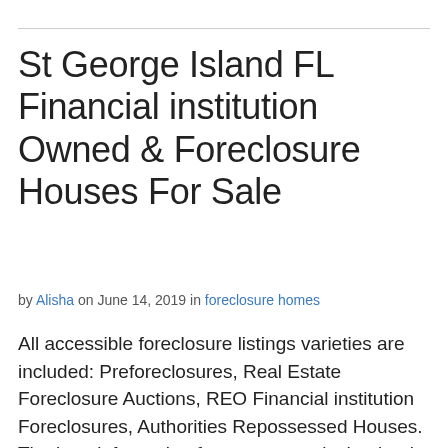St George Island FL Financial institution Owned & Foreclosure Houses For Sale
by Alisha on June 14, 2019 in foreclosure homes
All accessible foreclosure listings varieties are included: Preforeclosures, Real Estate Foreclosure Auctions, REO Financial institution Foreclosures, Authorities Repossessed Houses. The best information for consumers is that banks are required to repay any liens filed in opposition to these properties. Search: Choose by means of 's vast database of Foreclosed HUD